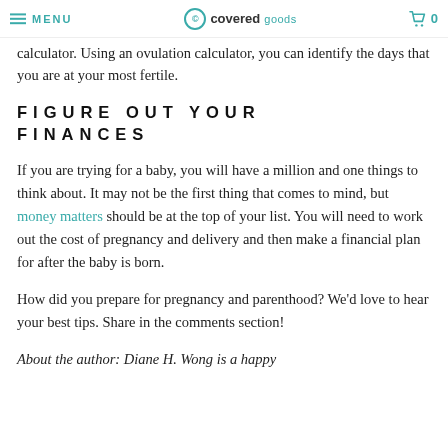MENU | covered goods | 0
calculator. Using an ovulation calculator, you can identify the days that you are at your most fertile.
FIGURE OUT YOUR FINANCES
If you are trying for a baby, you will have a million and one things to think about. It may not be the first thing that comes to mind, but money matters should be at the top of your list. You will need to work out the cost of pregnancy and delivery and then make a financial plan for after the baby is born.
How did you prepare for pregnancy and parenthood? We'd love to hear your best tips. Share in the comments section!
About the author: Diane H. Wong is a happy